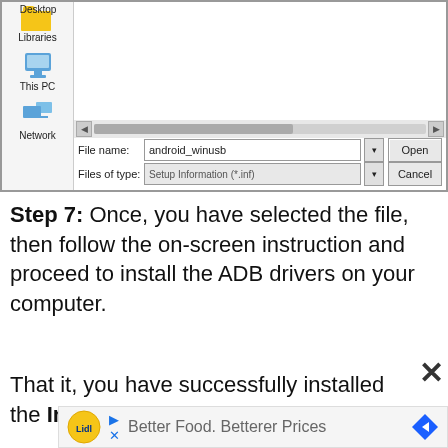[Figure (screenshot): Windows file open dialog showing sidebar with Desktop, Libraries, This PC, Network icons on the left. File name field shows 'android_winusb', Files of type shows 'Setup Information (*.inf)'. Open and Cancel buttons on the right.]
Step 7: Once, you have selected the file, then follow the on-screen instruction and proceed to install the ADB drivers on your computer.
That it, you have successfully installed the Infinix USB driver on your computer.
[Figure (screenshot): Advertisement banner for Lidl: Better Food. Betterer Prices]